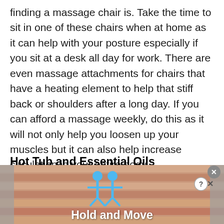finding a massage chair is. Take the time to sit in one of these chairs when at home as it can help with your posture especially if you sit at a desk all day for work. There are even massage attachments for chairs that have a heating element to help that stiff back or shoulders after a long day. If you can afford a massage weekly, do this as it will not only help you loosen up your muscles but it can also help increase circulation in your entire body.
Hot Tub and Essential Oils
[Figure (screenshot): Advertisement banner for a mobile game called 'Hold and Move' showing two blue cartoon figures on a wooden/striped background with close and help buttons in the top right corner.]